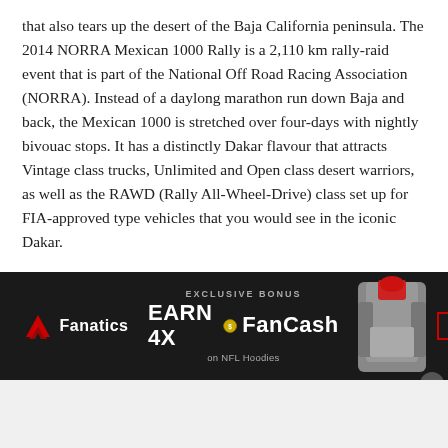that also tears up the desert of the Baja California peninsula. The 2014 NORRA Mexican 1000 Rally is a 2,110 km rally-raid event that is part of the National Off Road Racing Association (NORRA). Instead of a daylong marathon run down Baja and back, the Mexican 1000 is stretched over four-days with nightly bivouac stops. It has a distinctly Dakar flavour that attracts Vintage class trucks, Unlimited and Open class desert warriors, as well as the RAWD (Rally All-Wheel-Drive) class set up for FIA-approved type vehicles that you would see in the iconic Dakar.
While the rally is a distinctly American and Mexican affair, this year saw two prominent Canadian teams take to the starting line, both with aspirations for victory, and vital testing data for the upcoming 2015 Dakar Rally...
[Figure (other): Fanatics advertisement banner: EXCLUSIVE BONUS - EARN 4X FanCash on NFL Hoodies, with SHOP NOW button and hoodie image]